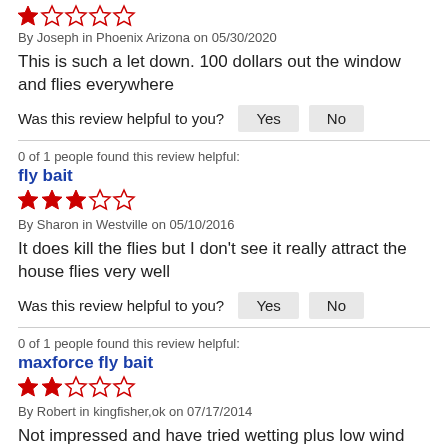[Figure (other): 1 out of 5 stars rating (1 red filled star, 4 empty stars)]
By Joseph in Phoenix Arizona on 05/30/2020
This is such a let down. 100 dollars out the window and flies everywhere
Was this review helpful to you? Yes No
0 of 1 people found this review helpful:
fly bait
[Figure (other): 3 out of 5 stars rating (3 red filled stars, 2 empty stars)]
By Sharon in Westville on 05/10/2016
It does kill the flies but I don't see it really attract the house flies very well
Was this review helpful to you? Yes No
0 of 1 people found this review helpful:
maxforce fly bait
[Figure (other): 2 out of 5 stars rating (2 red filled stars, 3 empty stars)]
By Robert in kingfisher,ok on 07/17/2014
Not impressed and have tried wetting plus low wind low